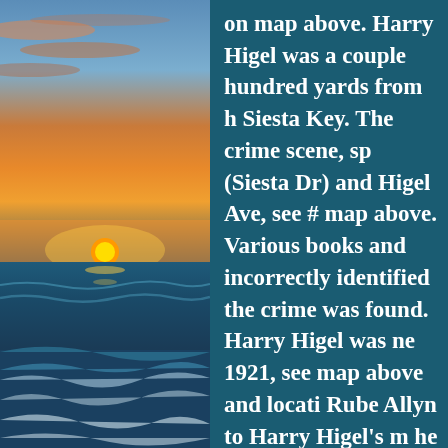[Figure (photo): Sunset over ocean with colorful orange and blue sky, sun near horizon, waves on beach]
on map above. Harry Higel was a couple hundred yards from h Siesta Key. The crime scene, sp (Siesta Dr) and Higel Ave, see # map above. Various books and incorrectly identified the crime was found. Harry Higel was ne 1921, see map above and locati Rube Allyn to Harry Higel's m he was Higel's neighbor on the out and about Friday morning Higel. #1 on the map is Mr Hig originally built in 1917 by Har